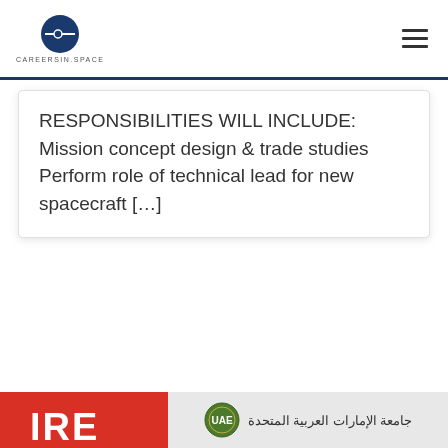CAREERSIN.SPACE
RESPONSIBILITIES WILL INCLUDE: Mission concept design & trade studies Perform role of technical lead for new spacecraft […]
[Figure (logo): Red block logo with letters partially visible at bottom left]
[Figure (logo): UAE University logo with Arabic text جامعة الإمارات العربية المتحدة and emblem]